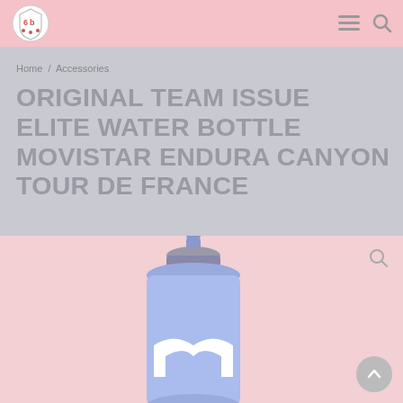Home / Accessories
ORIGINAL TEAM ISSUE ELITE WATER BOTTLE MOVISTAR ENDURA CANYON TOUR DE FRANCE
[Figure (photo): A blue Movistar branded cycling water bottle (Elite brand) with a blue squeeze cap, grey lid collar, and white Movistar 'M' logo on the body, photographed against a pink/rose background.]